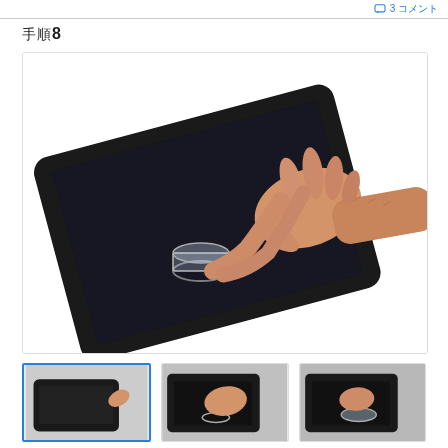3 コメント
手順8
[Figure (photo): A hand using a suction cup tool on a black tablet (iPad), placing or attaching the suction cup on the lower-left area of the tablet screen/bezel.]
[Figure (photo): Thumbnail 1: Hand pressing on edge of tablet]
[Figure (photo): Thumbnail 2: Hand applying suction cup on tablet]
[Figure (photo): Thumbnail 3: Close-up of suction cup on tablet]